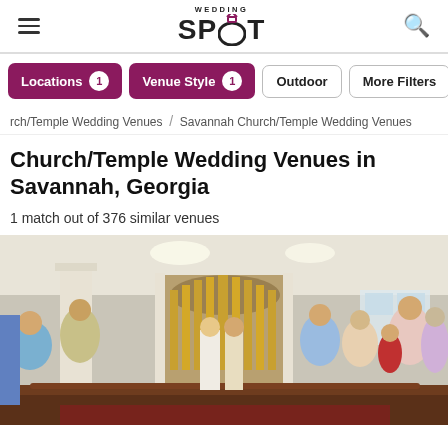Wedding Spot — navigation header with hamburger menu, logo, and search icon
Locations 1
Venue Style 1
Outdoor
More Filters
rch/Temple Wedding Venues / Savannah Church/Temple Wedding Venues
Church/Temple Wedding Venues in Savannah, Georgia
1 match out of 376 similar venues
[Figure (photo): Interior of a church wedding ceremony. A bride and groom stand at the front near a large pipe organ with golden pipes. Guests stand in wooden pews. White columns and bright ceiling lights. Wedding party visible.]